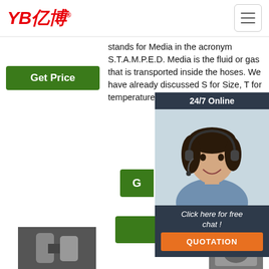[Figure (logo): YB亿博 company logo in red with registered trademark symbol]
[Figure (other): Hamburger menu icon (three horizontal lines) in grey rounded rectangle]
Get Price
stands for Media in the acronym S.T.A.M.P.E.D. Media is the fluid or gas that is transported inside the hoses. We have already discussed S for Size, T for temperature and A for Appliion previously.
[Figure (photo): 24/7 Online chat widget with photo of a woman wearing a headset, overlaid on dark navy background with 'Click here for free chat!' text and orange QUOTATION button]
Get Price
[Figure (other): Orange/red TOP navigation icon with dotted triangle above the word TOP]
[Figure (photo): Product image of industrial hose fittings/connectors at bottom left]
[Figure (photo): Product image at bottom right]